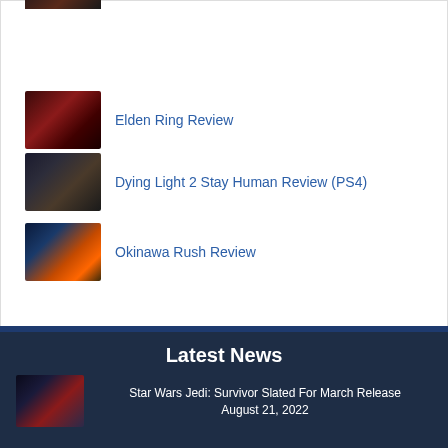[Figure (photo): Partial thumbnail of a game image, cropped at top]
Elden Ring Review
[Figure (photo): Thumbnail image for Elden Ring Review showing dark reddish fantasy scene]
Dying Light 2 Stay Human Review (PS4)
[Figure (photo): Thumbnail image for Dying Light 2 Stay Human Review showing dark figure]
Okinawa Rush Review
[Figure (photo): Thumbnail image for Okinawa Rush Review showing colorful arcade action scene]
Latest News
[Figure (photo): Thumbnail image for Star Wars Jedi Survivor news article showing dark sci-fi character]
Star Wars Jedi: Survivor Slated For March Release
August 21, 2022